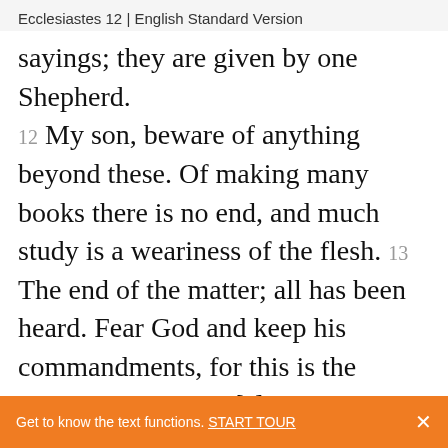Ecclesiastes 12 | English Standard Version
sayings; they are given by one Shepherd. 12 My son, beware of anything beyond these. Of making many books there is no end, and much study is a weariness of the flesh. 13 The end of the matter; all has been heard. Fear God and keep his commandments, for this is the whole duty of man.[3] 14 For God will bring every deed into judgment, with[4] every secret thing, whether good or evil.
Get to know the text functions. START TOUR ×